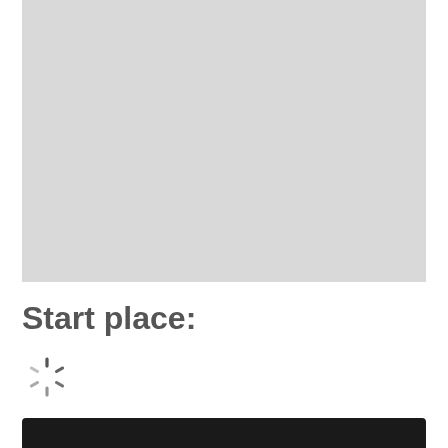[Figure (map): Gray placeholder map area]
Start place:
[Figure (infographic): Spinning loading indicator (circular spinner)]
[Figure (other): Bottom black navigation bar with white inner search/input bar]